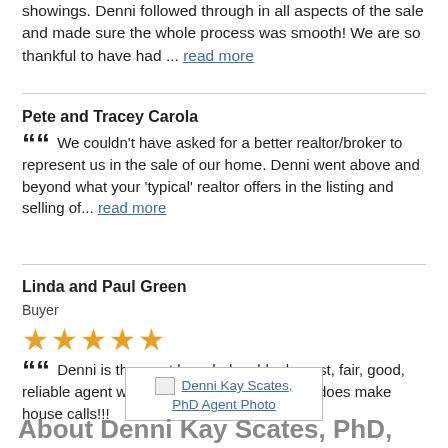showings. Denni followed through in all aspects of the sale and made sure the whole process was smooth! We are so thankful to have had ... read more
Pete and Tracey Carola
We couldn't have asked for a better realtor/broker to represent us in the sale of our home. Denni went above and beyond what your 'typical' realtor offers in the listing and selling of... read more
Linda and Paul Green
Buyer
[Figure (other): Five gold star rating icons]
Denni is the most knowledgeable, honest, fair, good, reliable agent we have ever had!! She really does make house calls!!!
[Figure (photo): Denni Kay Scates, PhD Agent Photo placeholder image with link]
About Denni Kay Scates, PhD, CLHMS,